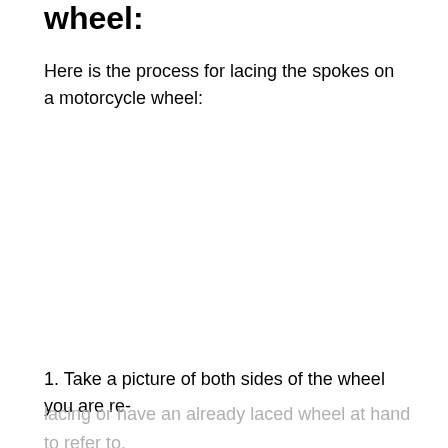wheel:
Here is the process for lacing the spokes on a motorcycle wheel:
1. Take a picture of both sides of the wheel you are re-
lacing or have an already laced wheel at hand to refer to.